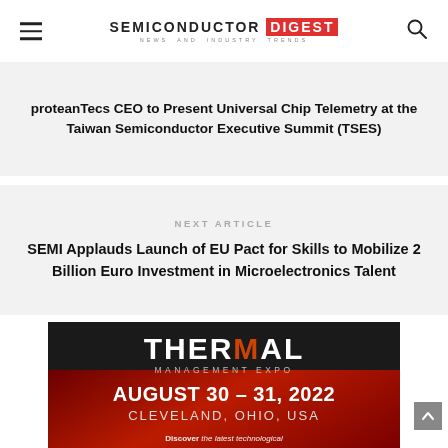SEMICONDUCTOR DIGEST — NEWS AND INDUSTRY TRENDS
proteanTecs CEO to Present Universal Chip Telemetry at the Taiwan Semiconductor Executive Summit (TSES)
NEXT ARTICLE
SEMI Applauds Launch of EU Pact for Skills to Mobilize 2 Billion Euro Investment in Microelectronics Talent
[Figure (infographic): Thermal Management Expo advertisement banner. Dark background with red accent. Text: THERMAL MANAGEMENT EXPO, AUGUST 30 – 31, 2022, CLEVELAND, OHIO, USA. Discover the latest technological advancements in thermal management. Co-located with Ceramics Expo 2022.]